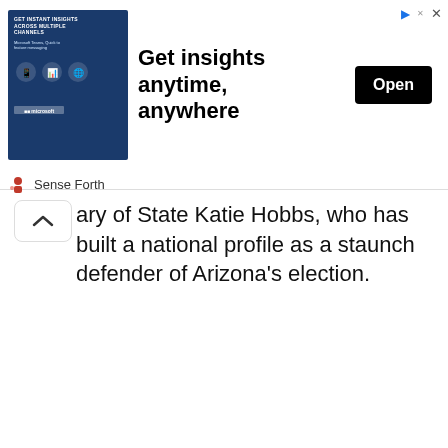[Figure (screenshot): Advertisement banner for Microsoft Teams / Sense Forth: blue image block on left with text 'GET INSTANT INSIGHTS ACROSS MULTIPLE CHANNELS' and icons, center has large bold headline 'Get insights anytime, anywhere', right has black 'Open' button, top-right has play and X icons, bottom shows Sense Forth logo and name.]
ary of State Katie Hobbs, who has built a national profile as a staunch defender of Arizona's election.